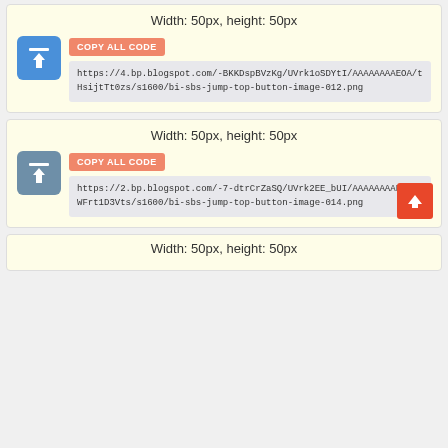Width: 50px, height: 50px
[Figure (illustration): Blue rounded square icon with white upload arrow and horizontal bar at top]
COPY ALL CODE
https://4.bp.blogspot.com/-BKKDspBVzKg/UVrk1oSDYtI/AAAAAAAAEOA/tHsijtTt0zs/s1600/bi-sbs-jump-top-button-image-012.png
Width: 50px, height: 50px
[Figure (illustration): Slate/grey-blue rounded square icon with white upload arrow and horizontal bar at top]
COPY ALL CODE
https://2.bp.blogspot.com/-7-dtrCrZaSQ/UVrk2EE_bUI/AAAAAAAAEOM/mWFrt1D3Vts/s1600/bi-sbs-jump-top-button-image-014.png
Width: 50px, height: 50px